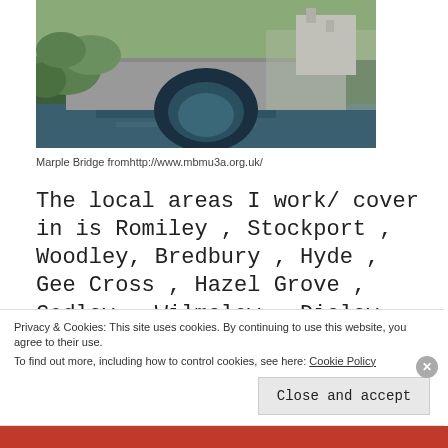[Figure (photo): Photograph of Marple Bridge, a stone arch bridge over a river with green vegetation on the banks]
Marple Bridge fromhttp://www.mbmu3a.org.uk/
The local areas I work/ cover in is Romiley , Stockport , Woodley, Bredbury , Hyde , Gee Cross , Hazel Grove , Godley , Wilmslow , Disley , Marple , Marple Bridge , Glossop , Poynton , Higher Poynton , New Mills Hayfield, Whaley Bridge, Mellor, If
Privacy & Cookies: This site uses cookies. By continuing to use this website, you agree to their use.
To find out more, including how to control cookies, see here: Cookie Policy
Close and accept